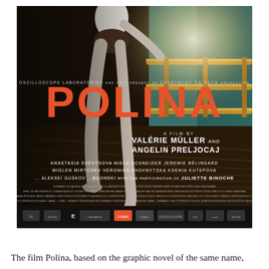[Figure (photo): Movie poster for 'Polina' — a ballet dancer stands on pointe at a wooden barre railing in a studio with teal walls. The large title 'POLINA' is displayed in bold orange/coral letters. Text reads: OSCILLOSCOPE LABORATORIES and UGC present AN EVERYBODY ON DECK PRODUCTION. A FILM BY VALÉRIE MÜLLER AND ANGELIN PRELJOCAJ. Cast: ANASTASIA SHEVTSOVA  NIELS SCHNEIDER  JEREMIE BÉLINGARD  MIGLEN MIRTCHEV  VERONIKA ZHOVNYTSKA  KSENIA KUTEPOVA  ... ALEKSEI GUSKOV ...BOJINSKI  with the participation of JULIETTE BINOCHE. Multiple production logos at bottom.]
The film Polina, based on the graphic novel of the same name,